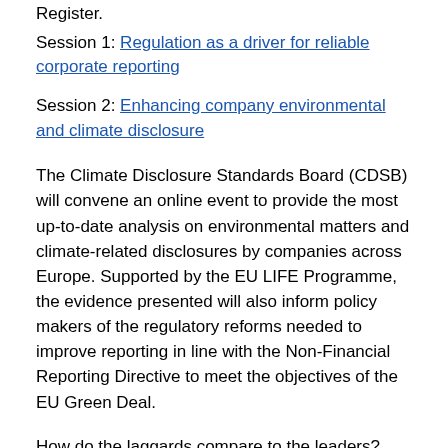Register.
Session 1: Regulation as a driver for reliable corporate reporting
Session 2: Enhancing company environmental and climate disclosure
The Climate Disclosure Standards Board (CDSB) will convene an online event to provide the most up-to-date analysis on environmental matters and climate-related disclosures by companies across Europe. Supported by the EU LIFE Programme, the evidence presented will also inform policy makers of the regulatory reforms needed to improve reporting in line with the Non-Financial Reporting Directive to meet the objectives of the EU Green Deal.
How do the laggards compare to the leaders?
The in-depth review conducted by CDSB analyses the climate and environmental disclosure practices of the top 50 European companies by market capitalisation. The findings will outline the current state of reporting with c...